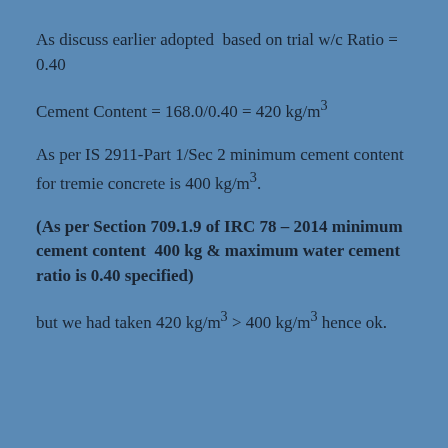As discuss earlier adopted based on trial w/c Ratio = 0.40
Cement Content = 168.0/0.40 = 420 kg/m³
As per IS 2911-Part 1/Sec 2 minimum cement content for tremie concrete is 400 kg/m³.
(As per Section 709.1.9 of IRC 78 – 2014 minimum cement content 400 kg & maximum water cement ratio is 0.40 specified)
but we had taken 420 kg/m³ > 400 kg/m³ hence ok.